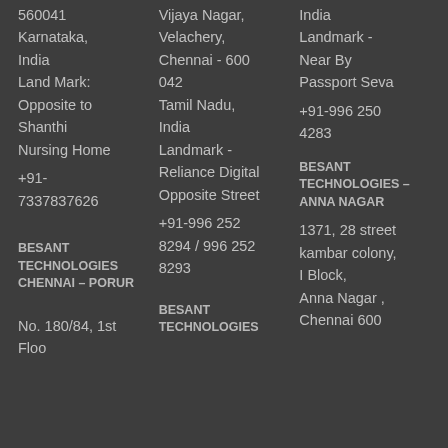560041
Karnataka,
India
Land Mark:
Opposite to
Shanthi
Nursing Home
+91-
7337837626
BESANT TECHNOLOGIES CHENNAI – PORUR
No. 180/84, 1st Floor
Vijaya Nagar,
Velachery,
Chennai - 600
042
Tamil Nadu,
India
Landmark -
Reliance Digital
Opposite Street
+91-996 252 8294 / 996 252 8293
BESANT TECHNOLOGIES
India
Landmark -
Near By
Passport Seva
+91-996 250 4283
BESANT TECHNOLOGIES – ANNA NAGAR
1371, 28 street
kambar colony,
I Block,
Anna Nagar ,
Chennai 600